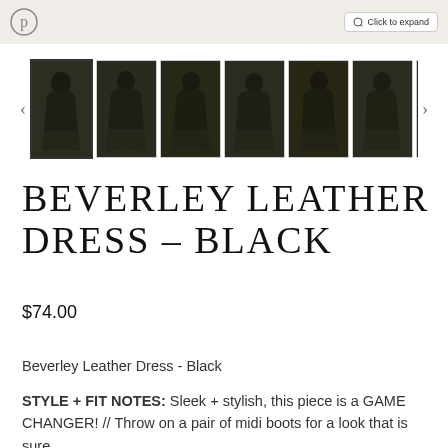[Figure (screenshot): Top strip with Pinterest icon on left and 'Click to expand' button on right, over a beige/tan background]
[Figure (photo): Row of 7 thumbnail images showing a black leather dress on a model from various angles. The first thumbnail is highlighted/selected with a border.]
BEVERLEY LEATHER DRESS - BLACK
$74.00
Beverley Leather Dress - Black
STYLE + FIT NOTES: Sleek + stylish, this piece is a GAME CHANGER! // Throw on a pair of midi boots for a look that is sure